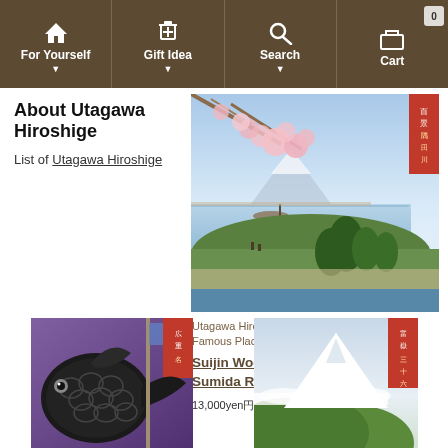For Yourself | Gift Idea | Search | Cart
About Utagawa Hiroshige
List of Utagawa Hiroshige
[Figure (illustration): Japanese woodblock print: Suijin Woods and Masaki on the Sumida River Banks — cherry blossoms in foreground, Mount Fuji visible across river, pine trees and green landscape]
Utagawa Hiroshige One Hundred Views of Famous Places in Edo
Suijin Woods and Masaki on the Sumida River Banks
13,000yen円 (Excluding Tax)
[Figure (illustration): Japanese woodblock print: large black koi fish (carp) with scales visible, close-up view]
[Figure (illustration): Japanese woodblock print: Mount Fuji with green forested hills and clouds]